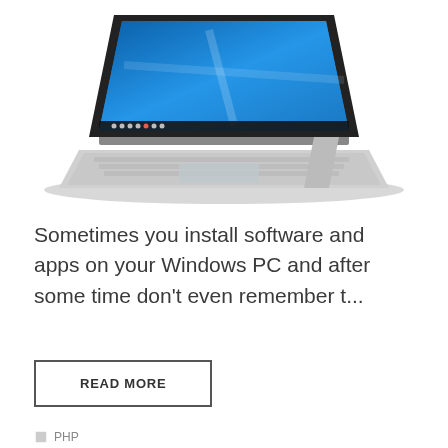[Figure (photo): A Microsoft Surface Pro tablet/laptop with a keyboard cover attached, displaying a Windows 10 desktop with blue wallpaper, shown at an angle on a white background.]
Sometimes you install software and apps on your Windows PC and after some time don't even remember t...
READ MORE
PHP